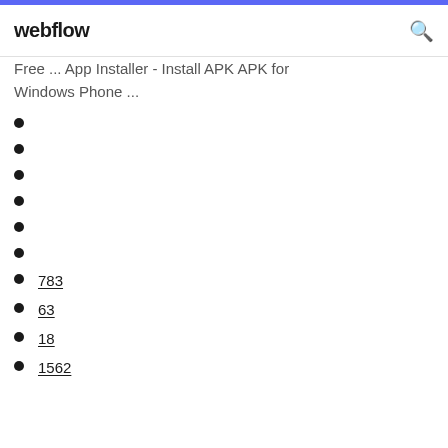webflow
Free ... App Installer - Install APK APK for Windows Phone ...
783
63
18
1562